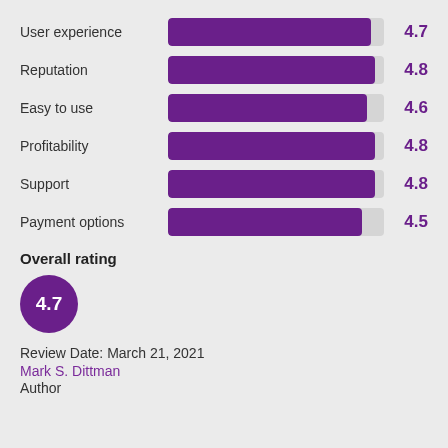[Figure (bar-chart): Ratings]
Overall rating
4.7
Review Date: March 21, 2021
Mark S. Dittman
Author